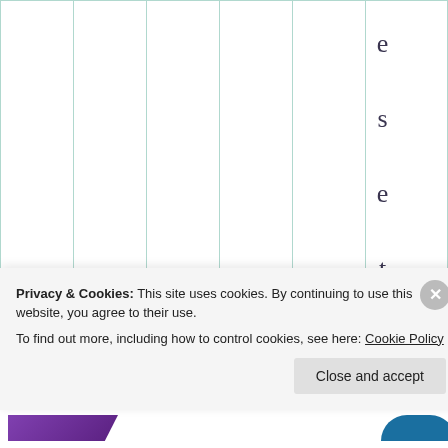|  |  |  |  | e
s
e
t
o
n
t
h
e
s
i |
Privacy & Cookies: This site uses cookies. By continuing to use this website, you agree to their use.
To find out more, including how to control cookies, see here: Cookie Policy
Close and accept